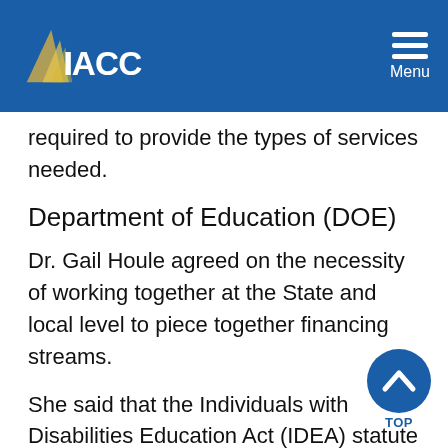IACC — Menu
required to provide the types of services needed.
Department of Education (DOE)
Dr. Gail Houle agreed on the necessity of working together at the State and local level to piece together financing streams.
She said that the Individuals with Disabilities Education Act (IDEA) statute had been reauthorized, and the regulations are being written in the DOE. Scientifically-based practice standards are addressed in the new statute. In addition, new rules will reduce the